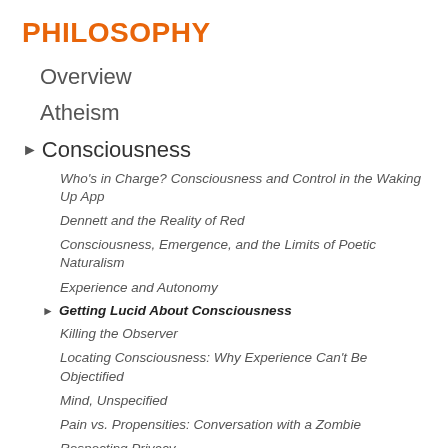PHILOSOPHY
Overview
Atheism
▶ Consciousness
Who's in Charge? Consciousness and Control in the Waking Up App
Dennett and the Reality of Red
Consciousness, Emergence, and the Limits of Poetic Naturalism
Experience and Autonomy
▶ Getting Lucid About Consciousness
Killing the Observer
Locating Consciousness: Why Experience Can't Be Objectified
Mind, Unspecified
Pain vs. Propensities: Conversation with a Zombie
Respecting Privacy
The Appearance of Reality
The Explanatory Gap